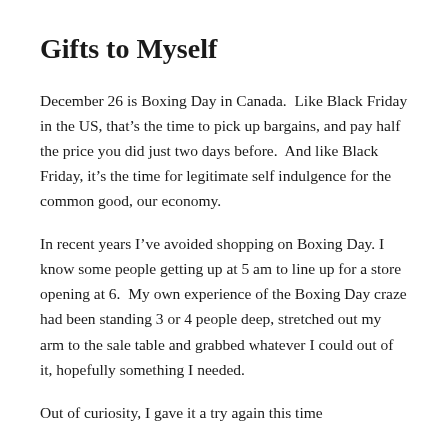Gifts to Myself
December 26 is Boxing Day in Canada.  Like Black Friday in the US, that’s the time to pick up bargains, and pay half the price you did just two days before.  And like Black Friday, it’s the time for legitimate self indulgence for the common good, our economy.
In recent years I’ve avoided shopping on Boxing Day. I know some people getting up at 5 am to line up for a store opening at 6.  My own experience of the Boxing Day craze had been standing 3 or 4 people deep, stretched out my arm to the sale table and grabbed whatever I could out of it, hopefully something I needed.
Out of curiosity, I gave it a try again this time around and...